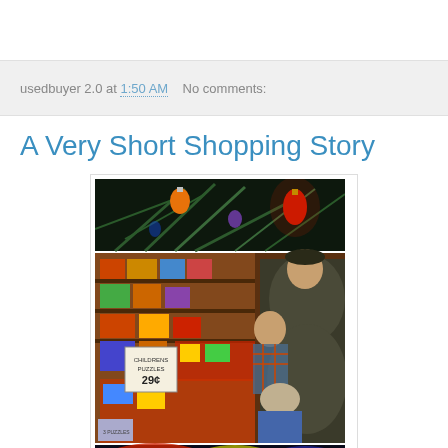usedbuyer 2.0 at 1:50 AM   No comments:
A Very Short Shopping Story
[Figure (photo): Three-panel vintage photograph collage: top panel shows Christmas lights and pine branches with an orange and red bulb against dark background; middle panel shows a vintage store interior with mother and two children near a display of toys and gifts, with a sign reading 'CHILDRENS PUZZLES 29¢'; bottom panel shows colorful blurred abstract shapes.]